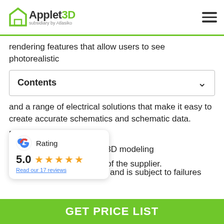Applet3D subsidiary by Atlasiko
rendering features that allow users to see photorealistic
Contents
and a range of electrical solutions that make it easy to create accurate schematics and schematic data.
Pros:
A wide set of tools for 3D modeling
Exhaustive resources of the supplier.
[Figure (other): Google Rating card showing 5.0 stars with 17 reviews]
and is subject to failures
GET PRICE LIST